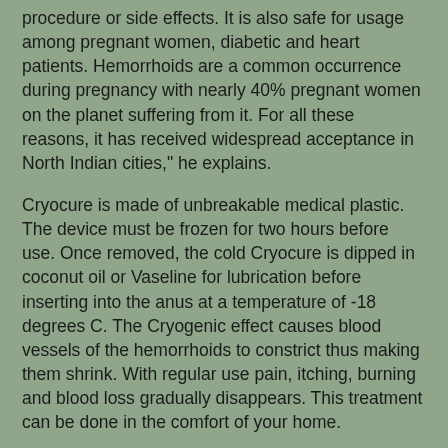procedure or side effects. It is also safe for usage among pregnant women, diabetic and heart patients. Hemorrhoids are a common occurrence during pregnancy with nearly 40% pregnant women on the planet suffering from it. For all these reasons, it has received widespread acceptance in North Indian cities," he explains.
Cryocure is made of unbreakable medical plastic. The device must be frozen for two hours before use. Once removed, the cold Cryocure is dipped in coconut oil or Vaseline for lubrication before inserting into the anus at a temperature of -18 degrees C. The Cryogenic effect causes blood vessels of the hemorrhoids to constrict thus making them shrink. With regular use pain, itching, burning and blood loss gradually disappears. This treatment can be done in the comfort of your home.
Cryocure can be used only after confirmed diagnoses of hemorrhoids (piles). It is available across the counter at select chemist shops across Karnataka. For more information visit https://pilesfree.co.in/